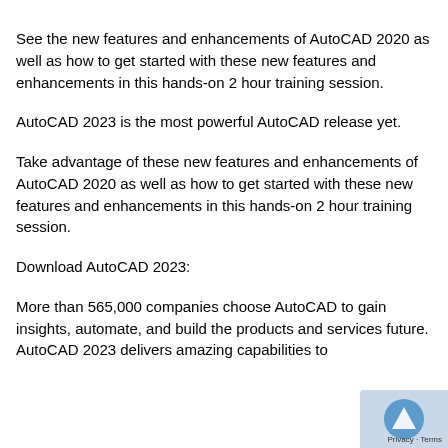See the new features and enhancements of AutoCAD 2020 as well as how to get started with these new features and enhancements in this hands-on 2 hour training session.
AutoCAD 2023 is the most powerful AutoCAD release yet.
Take advantage of these new features and enhancements of AutoCAD 2020 as well as how to get started with these new features and enhancements in this hands-on 2 hour training session.
Download AutoCAD 2023:
More than 565,000 companies choose AutoCAD to gain insights, automate, and build the products and services future. AutoCAD 2023 delivers amazing capabilities to